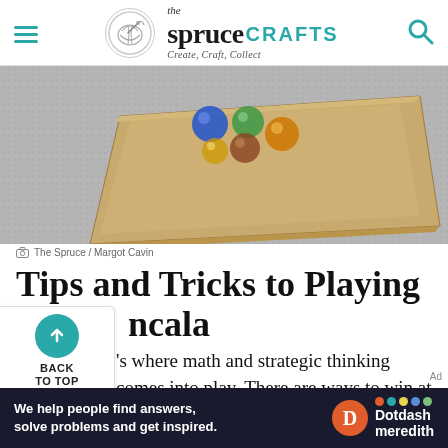the spruce CRAFTS — Create, Craft, Collect
[Figure (photo): A wooden tray with colorful glass marbles on a gray carpet, photographed from above at an angle.]
The Spruce / Margot Cavin
Tips and Tricks to Playing Mancala
…'s where math and strategic thinking comes into play. There are ways to win at mancala, but…
[Figure (screenshot): Dotdash Meredith advertisement banner: 'We help people find answers, solve problems and get inspired.' with Dotdash Meredith logo.]